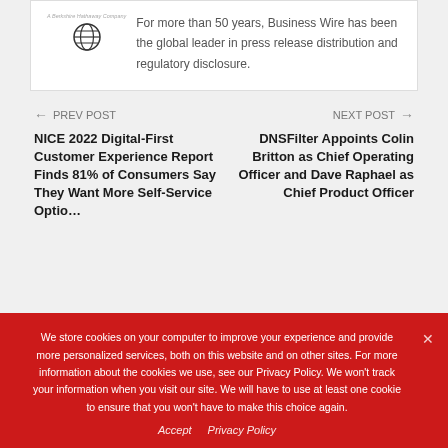[Figure (logo): Business Wire logo with globe icon and 'A Berkshire Hathaway Company' tagline]
For more than 50 years, Business Wire has been the global leader in press release distribution and regulatory disclosure.
← PREV POST
NICE 2022 Digital-First Customer Experience Report Finds 81% of Consumers Say They Want More Self-Service Options
NEXT POST →
DNSFilter Appoints Colin Britton as Chief Operating Officer and Dave Raphael as Chief Product Officer
We store cookies on your computer to improve your experience and provide more personalized services, both on this website and on other sites. For more information about the cookies we use, see our Privacy Policy. We won't track your information when you visit our site. We will have to use at least one cookie to ensure that you won't have to make this choice again.
Accept   Privacy Policy